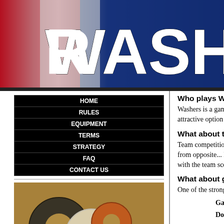[Figure (screenshot): Website banner with red, white, and blue gradient background and 'WASHER' text in large white bold letters]
HOME
RULES
EQUIPMENT
TERMS
STRATEGY
FAQ
CONTACT US
[Figure (photo): Photo of washers on sandy/dirt ground]
[Figure (logo): International Association of WASHER Players logo with green and yellow circles]
Who plays Washers?
Washers is a game for youngsters, oldsters a... Washers stimulating, challenging and reward... also makes Washers an attractive option for ... challenges, even hearing and vision impairm...
What about team play?
Team competition is an enjoyable option to s... unique challenges. Teams are generally com... same team facing one another from opposite... Player #1 from Team B both throw from the s... play. In team competition, one designated m... team's diddle, with the team scoring last thr...
What about game variations?
One of the strong suits of Washers is the abi... Among the more popular are:
Games of less than 21 points - To s... 21 points are often played.
Double Washers - Throwing both wa... standard game and an enjoyable finis...
Left-handed Washers - Right-hande...